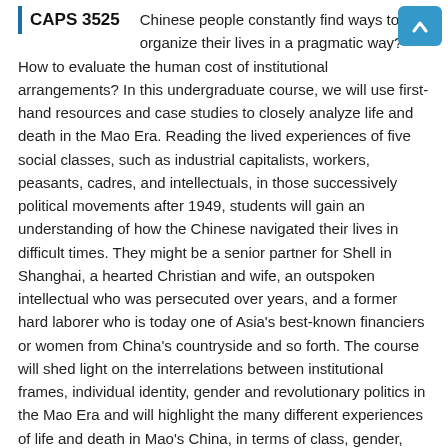CAPS 3525
Chinese people constantly find ways to re-organize their lives in a pragmatic way? How to evaluate the human cost of institutional arrangements?  In this undergraduate course, we will use first-hand resources and case studies to closely analyze life and death in the Mao Era. Reading the lived experiences of five social classes, such as industrial capitalists, workers, peasants, cadres, and intellectuals, in those successively political movements after 1949, students will gain an understanding of how the Chinese navigated their lives in difficult times. They might be a senior partner for Shell in Shanghai, a hearted Christian and wife, an outspoken intellectual who was persecuted over years, and a former hard laborer who is today one of Asia's best-known financiers or women from China's countryside and so forth. The course will shed light on the interrelations between institutional frames, individual identity, gender and revolutionary politics in the Mao Era and will highlight the many different experiences of life and death in Mao's China, in terms of class, gender, generation.
When Offered: Fall.
Breadth Requirement: (GB)